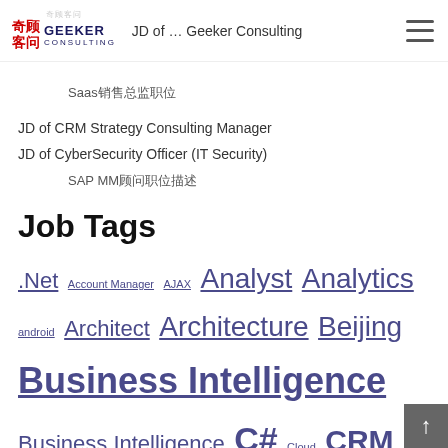奇顾客问 Geeker Consulting — JD of … Geeker Consulting
Saas销售总监职位
JD of CRM Strategy Consulting Manager
JD of CyberSecurity Officer (IT Security)
SAP MM顾问职位描述
Job Tags
.Net  Account Manager  AJAX  Analyst  Analytics  android  Architect  Architecture  Beijing  Business Intelligence  Business Intelligence  C#  Cloud  CRM  Database Marketing